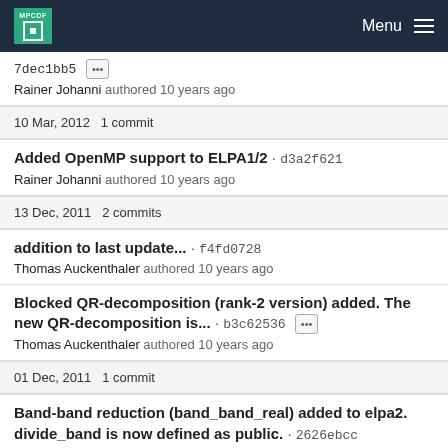MPCDF Menu
7dec1bb5 ... Rainer Johanni authored 10 years ago
10 Mar, 2012 1 commit
Added OpenMP support to ELPA1/2 · d3a2f621
Rainer Johanni authored 10 years ago
13 Dec, 2011 2 commits
addition to last update... · f4fd0728
Thomas Auckenthaler authored 10 years ago
Blocked QR-decomposition (rank-2 version) added. The new QR-decomposition is... · b3c62536 ...
Thomas Auckenthaler authored 10 years ago
01 Dec, 2011 1 commit
Band-band reduction (band_band_real) added to elpa2. divide_band is now defined as public. · 2626ebcc